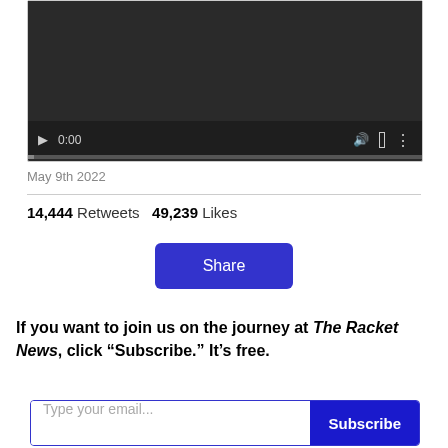[Figure (screenshot): Video player with dark background, play button, timestamp 0:00, volume icon, fullscreen icon, and more options icon. Progress bar at bottom.]
May 9th 2022
14,444 Retweets  49,239 Likes
[Figure (other): Blue Share button]
If you want to join us on the journey at The Racket News, click “Subscribe.” It’s free.
[Figure (other): Email subscription form with placeholder text 'Type your email...' and a blue Subscribe button]